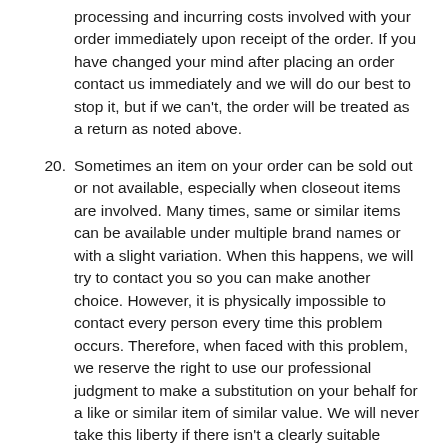processing and incurring costs involved with your order immediately upon receipt of the order. If you have changed your mind after placing an order contact us immediately and we will do our best to stop it, but if we can't, the order will be treated as a return as noted above.
20. Sometimes an item on your order can be sold out or not available, especially when closeout items are involved. Many times, same or similar items can be available under multiple brand names or with a slight variation. When this happens, we will try to contact you so you can make another choice. However, it is physically impossible to contact every person every time this problem occurs. Therefore, when faced with this problem, we reserve the right to use our professional judgment to make a substitution on your behalf for a like or similar item of similar value. We will never take this liberty if there isn't a clearly suitable similar substitution and if ever you are not happy with a substitution we will send you a